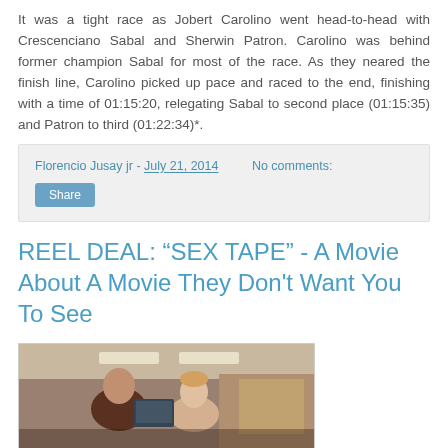It was a tight race as Jobert Carolino went head-to-head with Crescenciano Sabal and Sherwin Patron. Carolino was behind former champion Sabal for most of the race. As they neared the finish line, Carolino picked up pace and raced to the end, finishing with a time of 01:15:20, relegating Sabal to second place (01:15:35) and Patron to third (01:22:34)*.
Florencio Jusay jr - July 21, 2014    No comments:
Share
REEL DEAL: “SEX TAPE” - A Movie About A Movie They Don't Want You To See
[Figure (photo): A movie scene showing two people in what appears to be an indoor setting with ceiling lights visible in the background.]